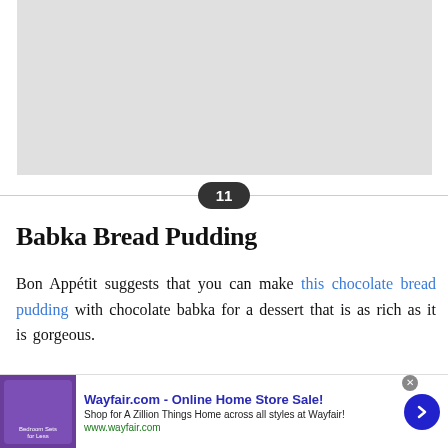[Figure (photo): Placeholder image, light gray rectangle at the top of the page]
11
Babka Bread Pudding
Bon Appétit suggests that you can make this chocolate bread pudding with chocolate babka for a dessert that is as rich as it is gorgeous.
[Figure (screenshot): Advertisement banner for Wayfair.com - Online Home Store Sale! Shop for A Zillion Things Home across all styles at Wayfair! www.wayfair.com]